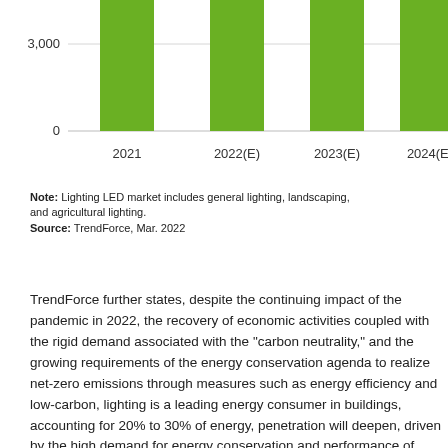[Figure (bar-chart): Bar chart showing Lighting LED market values from 2021 to 2024(E), y-axis shows 0 and 3,000 gridlines, bars in green]
Note: Lighting LED market includes general lighting, landscaping, and agricultural lighting.
Source: TrendForce, Mar. 2022
TrendForce further states, despite the continuing impact of the pandemic in 2022, the recovery of economic activities coupled with the rigid demand associated with the "carbon neutrality," and the growing requirements of the energy conservation agenda to realize net-zero emissions through measures such as energy efficiency and low-carbon, lighting is a leading energy consumer in buildings, accounting for 20% to 30% of energy, penetration will deepen, driven by the high demand for energy conservation and performance of aging equipment. In addition, smart lighting can also achieve the purpose of time-based strong demand for the introduction of LED lighting and smart lighting upgrades in outdoor lighting, and industrial lighting, which further drives demand for high-standard efficiency, high color rendering and color saturation, low blue light HCL and smar